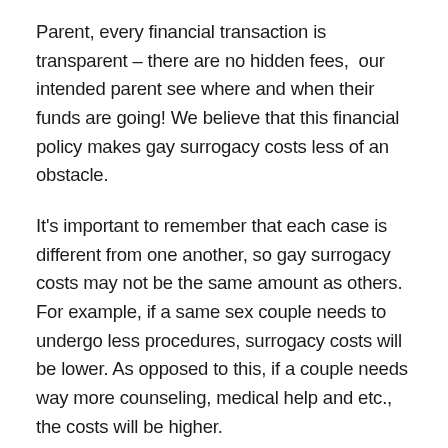Parent, every financial transaction is transparent – there are no hidden fees, our intended parent see where and when their funds are going! We believe that this financial policy makes gay surrogacy costs less of an obstacle.
It's important to remember that each case is different from one another, so gay surrogacy costs may not be the same amount as others. For example, if a same sex couple needs to undergo less procedures, surrogacy costs will be lower. As opposed to this, if a couple needs way more counseling, medical help and etc., the costs will be higher.
How does surrogacy work for gay couples?